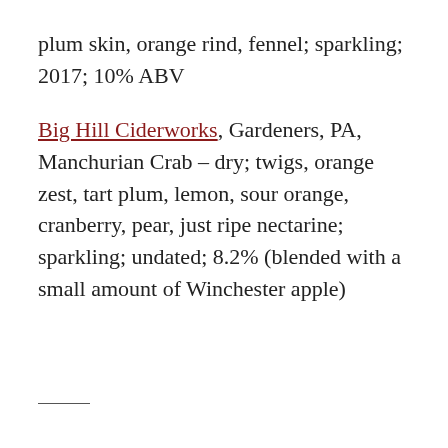plum skin, orange rind, fennel; sparkling; 2017; 10% ABV
Big Hill Ciderworks, Gardeners, PA, Manchurian Crab – dry; twigs, orange zest, tart plum, lemon, sour orange, cranberry, pear, just ripe nectarine; sparkling; undated; 8.2% (blended with a small amount of Winchester apple)